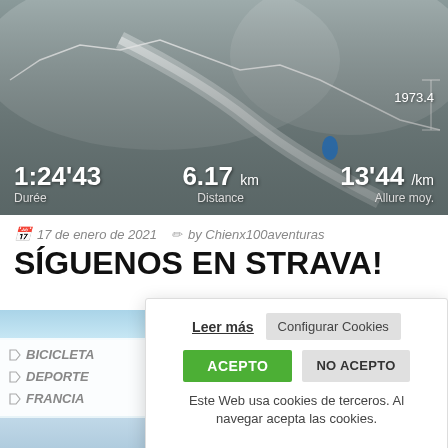[Figure (screenshot): Strava activity screenshot showing a snowy mountain route map with stats: Durée 1:24'43, Distance 6.17 km, Allure moy. 13'44 /km, elevation 1973.4]
17 de enero de 2021   by Chienx100aventuras
SÍGUENOS EN STRAVA!
[Figure (photo): Partial photo showing blue sky and snowy landscape with tags BICICLETA, DEPORTE, FRANCIA]
Leer más   Configurar Cookies   ACEPTO   NO ACEPTO   Este Web usa cookies de terceros. Al navegar acepta las cookies.